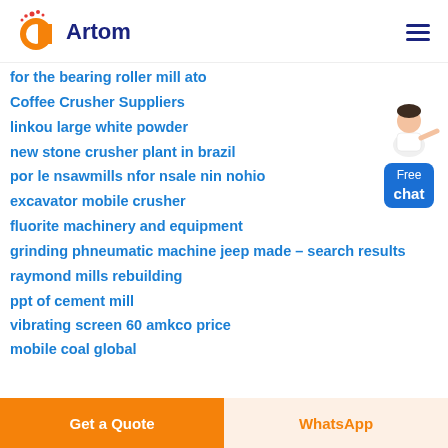Artom
for the bearing roller mill ato
Coffee Crusher Suppliers
linkou large white powder
new stone crusher plant in brazil
por le nsawmills nfor nsale nin nohio
excavator mobile crusher
fluorite machinery and equipment
grinding phneumatic machine jeep made - search results
raymond mills rebuilding
ppt of cement mill
vibrating screen 60 amkco price
mobile coal global
Get a Quote | WhatsApp